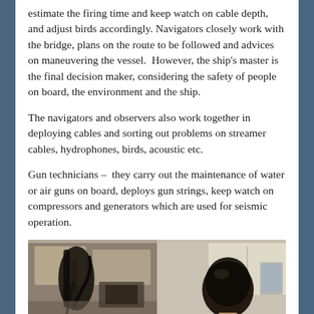estimate the firing time and keep watch on cable depth, and adjust birds accordingly. Navigators closely work with the bridge, plans on the route to be followed and advices on maneuvering the vessel.  However, the ship's master is the final decision maker, considering the safety of people on board, the environment and the ship.
The navigators and observers also work together in deploying cables and sorting out problems on streamer cables, hydrophones, birds, acoustic etc.
Gun technicians –  they carry out the maintenance of water or air guns on board, deploys gun strings, keep watch on compressors and generators which are used for seismic operation.
[Figure (photo): Two side-by-side photos: left photo shows dark equipment/cables on a vessel; right photo shows a person (back of head) working at a station on the vessel.]